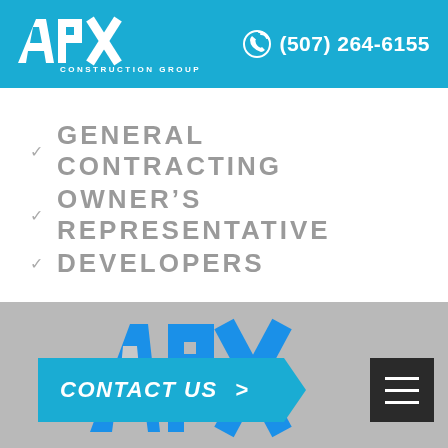APX Construction Group — (507) 264-6155
✓ GENERAL CONTRACTING
✓ OWNER'S REPRESENTATIVE
✓ DEVELOPERS
[Figure (photo): Photo strip showing APX blue logo letters on concrete wall and a worker in neon green/blue safety vest]
CONTACT US >